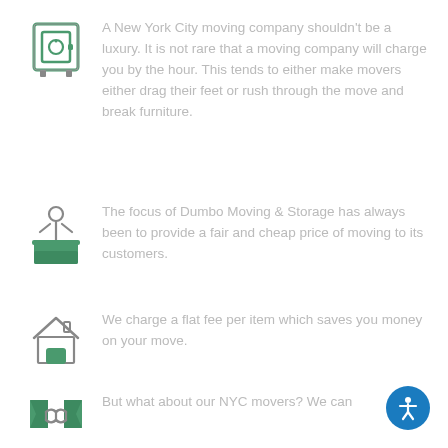[Figure (illustration): Green and grey icon of a safe/cabinet with dial]
A New York City moving company shouldn't be a luxury. It is not rare that a moving company will charge you by the hour. This tends to either make movers either drag their feet or rush through the move and break furniture.
[Figure (illustration): Grey and green icon of a person at a reception desk]
The focus of Dumbo Moving & Storage has always been to provide a fair and cheap price of moving to its customers.
[Figure (illustration): Grey and green icon of a house]
We charge a flat fee per item which saves you money on your move.
[Figure (illustration): Green and grey icon of handshake]
But what about our NYC movers? We can